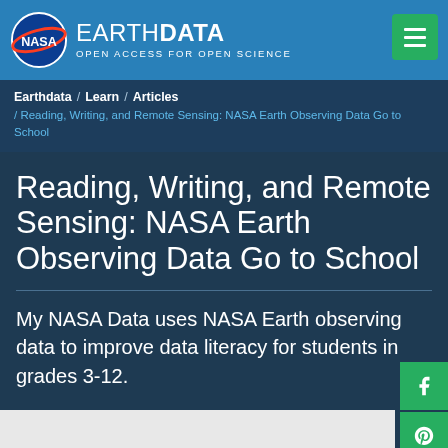EARTHDATA — OPEN ACCESS FOR OPEN SCIENCE
Earthdata / Learn / Articles / Reading, Writing, and Remote Sensing: NASA Earth Observing Data Go to School
Reading, Writing, and Remote Sensing: NASA Earth Observing Data Go to School
My NASA Data uses NASA Earth observing data to improve data literacy for students in grades 3-12.